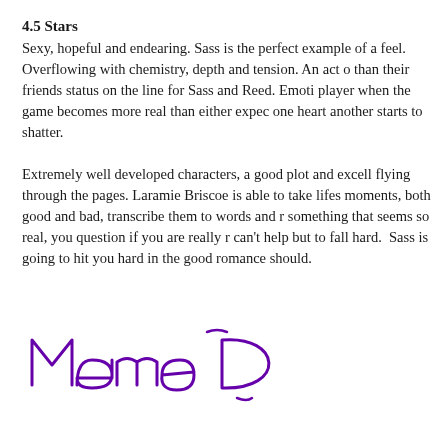4.5 Stars
Sexy, hopeful and endearing. Sass is the perfect example of a feel. Overflowing with chemistry, depth and tension. An act c than their friends status on the line for Sass and Reed. Emoti player when the game becomes more real than either expec one heart another starts to shatter.
Extremely well developed characters, a good plot and excell flying through the pages. Laramie Briscoe is able to take lifes moments, both good and bad, transcribe them to words and r something that seems so real, you question if you are really r can't help but to fall hard. Sass is going to hit you hard in the good romance should.
[Figure (illustration): Handwritten signature in purple ink reading 'Mamme D']